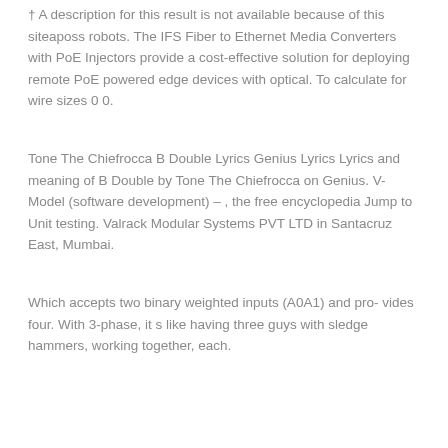† A description for this result is not available because of this siteaposs robots. The IFS Fiber to Ethernet Media Converters with PoE Injectors provide a cost-effective solution for deploying remote PoE powered edge devices with optical. To calculate for wire sizes 0 0.
Tone The Chiefrocca B Double Lyrics Genius Lyrics Lyrics and meaning of B Double by Tone The Chiefrocca on Genius. V-Model (software development) – , the free encyclopedia Jump to Unit testing. Valrack Modular Systems PVT LTD in Santacruz East, Mumbai.
Which accepts two binary weighted inputs (A0A1) and pro- vides four. With 3-phase, it s like having three guys with sledge hammers, working together, each.